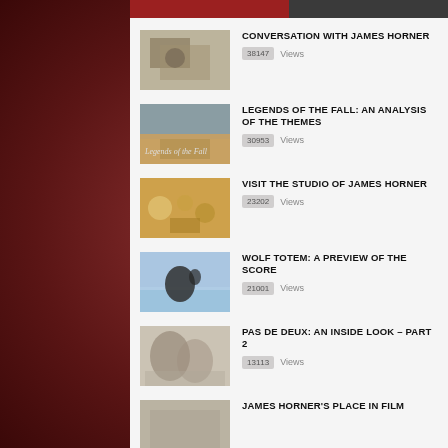CONVERSATION WITH JAMES HORNER — 38147 Views
LEGENDS OF THE FALL: AN ANALYSIS OF THE THEMES — 30953 Views
VISIT THE STUDIO OF JAMES HORNER — 23202 Views
WOLF TOTEM: A PREVIEW OF THE SCORE — 21001 Views
PAS DE DEUX: AN INSIDE LOOK – PART 2 — 13113 Views
JAMES HORNER'S PLACE IN FILM